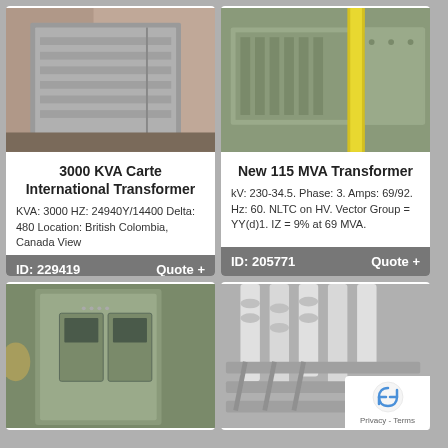[Figure (photo): Gray metal transformer enclosure/cabinet outdoors, boxy shape with horizontal slats]
3000 KVA Carte International Transformer
KVA: 3000 HZ: 24940Y/14400 Delta: 480 Location: British Colombia, Canada View
ID: 229419   Quote +
[Figure (photo): Large green industrial transformer outdoors with yellow vertical beam/column visible]
New 115 MVA Transformer
kV: 230-34.5. Phase: 3. Amps: 69/92. Hz: 60. NLTC on HV. Vector Group = YY(d)1. IZ = 9% at 69 MVA.
ID: 205771   Quote +
[Figure (photo): Green electrical cabinet/switchgear unit indoors in industrial facility]
[Figure (photo): White cylindrical transformer bushings/insulators on large transformer unit]